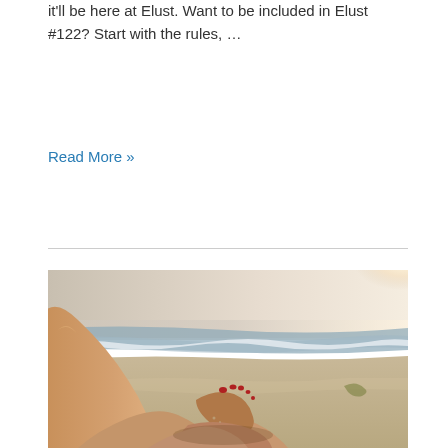it'll be here at Elust. Want to be included in Elust #122? Start with the rules, …
Read More »
[Figure (photo): A person lying on a sandy beach with bare feet and legs visible in the foreground, with ocean waves and bright sunlight in the background. The person's body curves in on the left side, with red-painted toenails visible on one foot.]